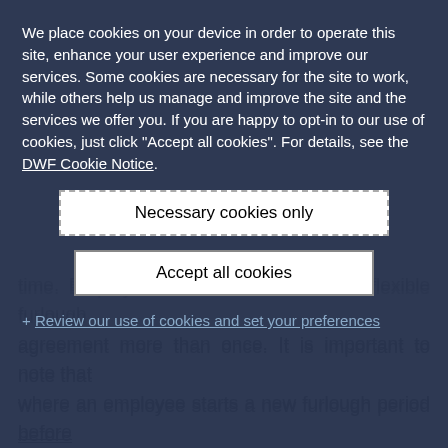We place cookies on your device in order to operate this site, enhance your user experience and improve our services. Some cookies are necessary for the site to work, while others help us manage and improve the site and the services we offer you. If you are happy to opt-in to our use of cookies, just click "Accept all cookies". For details, see the DWF Cookie Notice.
Necessary cookies only
Accept all cookies
+ Review our use of cookies and set your preferences
time. Employees can also enter into a flexible furlough agreement more than once. It is important to note that where an employee starts a new furlough period before 1 July 2020, this must be for a minimum period of 3 weeks, even if this takes the employee past 1 July. This means that there will need to be two claims for any...